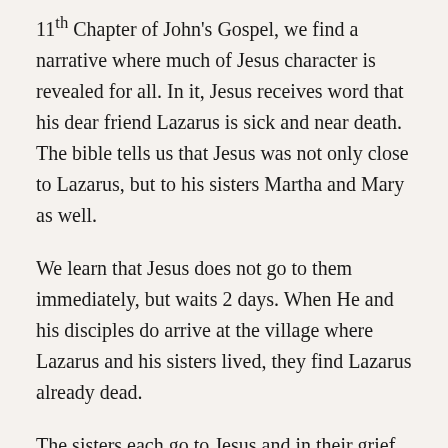11th Chapter of John's Gospel, we find a narrative where much of Jesus character is revealed for all. In it, Jesus receives word that his dear friend Lazarus is sick and near death. The bible tells us that Jesus was not only close to Lazarus, but to his sisters Martha and Mary as well.
We learn that Jesus does not go to them immediately, but waits 2 days. When He and his disciples do arrive at the village where Lazarus and his sisters lived, they find Lazarus already dead.
The sisters each go to Jesus and in their grief question the Lord as to why He did not come